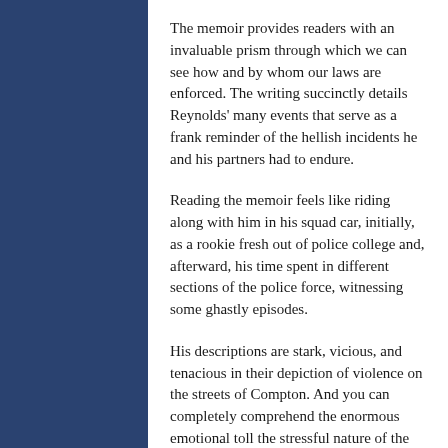The memoir provides readers with an invaluable prism through which we can see how and by whom our laws are enforced. The writing succinctly details Reynolds' many events that serve as a frank reminder of the hellish incidents he and his partners had to endure.
Reading the memoir feels like riding along with him in his squad car, initially, as a rookie fresh out of police college and, afterward, his time spent in different sections of the police force, witnessing some ghastly episodes.
His descriptions are stark, vicious, and tenacious in their depiction of violence on the streets of Compton. And you can completely comprehend the enormous emotional toll the stressful nature of the work had on him. In the early pages of the